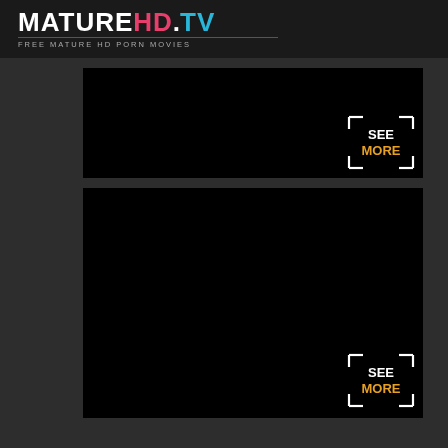MATUREHD.TV FREE MATURE HD PORN MOVIES
[Figure (screenshot): Black video thumbnail placeholder with SEE MORE badge in bottom right corner]
[Figure (screenshot): Large black video thumbnail placeholder with SEE MORE badge in bottom right corner]